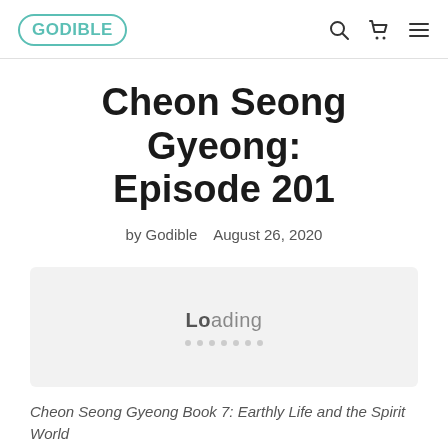GODIBLE
Cheon Seong Gyeong: Episode 201
by Godible   August 26, 2020
[Figure (other): Audio player loading widget with 'Loading' text and animated dots]
Cheon Seong Gyeong Book 7: Earthly Life and the Spirit World
Chapter 2: Earthly Life Prepares Us for Eternal Life